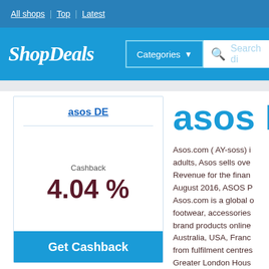All shops | Top | Latest
[Figure (screenshot): ShopDeals logo with Categories button and Search bar on blue background]
asos DE
Cashback
4.04 %
Get Cashback
asos DE
Asos.com ( AY-soss) is a global online fashion and beauty retailer. Aimed at young adults, Asos sells over Revenue for the financial year ending August 2016, ASOS P Asos.com is a global o footwear, accessories brand products online Australia, USA, Franc from fulfilment centres Greater London Hous where they employ 2